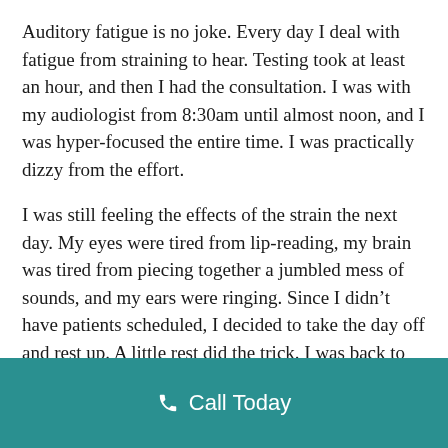Auditory fatigue is no joke. Every day I deal with fatigue from straining to hear. Testing took at least an hour, and then I had the consultation. I was with my audiologist from 8:30am until almost noon, and I was hyper-focused the entire time. I was practically dizzy from the effort.
I was still feeling the effects of the strain the next day. My eyes were tired from lip-reading, my brain was tired from piecing together a jumbled mess of sounds, and my ears were ringing. Since I didn't have patients scheduled, I decided to take the day off and rest up. A little rest did the trick. I was back to work the next day and holding up just fine.
Call Today